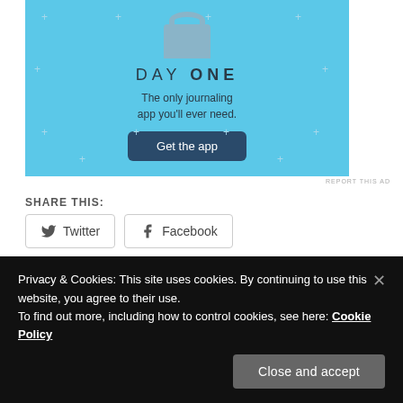[Figure (illustration): Day One journaling app advertisement banner with blue background, shirt icon, 'DAY ONE' title, tagline, and 'Get the app' button]
REPORT THIS AD
SHARE THIS:
Twitter  Facebook
LIKE THIS:
Privacy & Cookies: This site uses cookies. By continuing to use this website, you agree to their use.
To find out more, including how to control cookies, see here: Cookie Policy
Close and accept